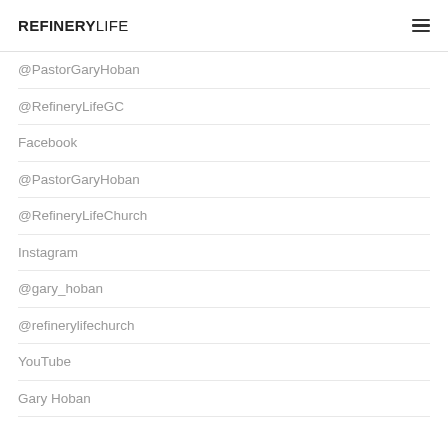REFINERYLIFE
@PastorGaryHoban
@RefineryLifeGC
Facebook
@PastorGaryHoban
@RefineryLifeChurch
Instagram
@gary_hoban
@refinerylifechurch
YouTube
Gary Hoban